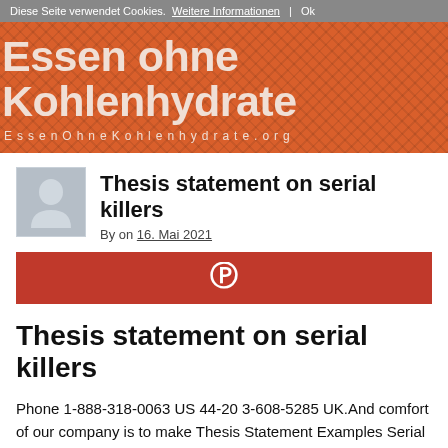Diese Seite verwendet Cookies. Weitere Informationen | Ok
Essen ohne Kohlenhydrate
EssenOhneKohlenhydrate.org
[Figure (photo): Grey avatar/person placeholder icon]
Thesis statement on serial killers
By on 16. Mai 2021
[Figure (logo): Pinterest share button bar, red background with Pinterest P logo icon]
Thesis statement on serial killers
Phone 1-888-318-0063 US 44-20 3-608-5285 UK.And comfort of our company is to make Thesis Statement Examples Serial Ki... / 5 based on 2979 student reviews Essay Topics About Serial Ki...